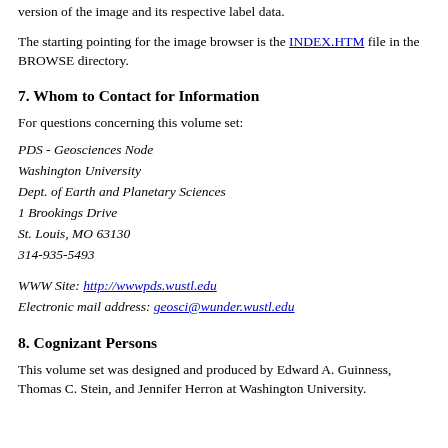version of the image and its respective label data.
The starting pointing for the image browser is the INDEX.HTM file in the BROWSE directory.
7. Whom to Contact for Information
For questions concerning this volume set:
PDS - Geosciences Node
Washington University
Dept. of Earth and Planetary Sciences
1 Brookings Drive
St. Louis, MO 63130
314-935-5493
WWW Site: http://wwwpds.wustl.edu
Electronic mail address: geosci@wunder.wustl.edu
8. Cognizant Persons
This volume set was designed and produced by Edward A. Guinness, Thomas C. Stein, and Jennifer Herron at Washington University.